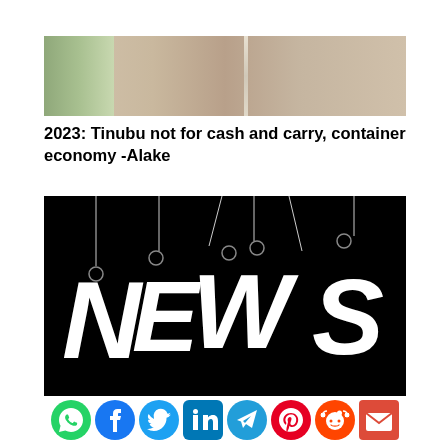[Figure (photo): Partial photo of a person wearing a beige/tan outfit with sparkly necklace detail, cropped at bottom edge]
2023: Tinubu not for cash and carry, container economy -Alake
[Figure (illustration): NEWS letters hanging on strings against a black background, styled as hanging tags]
[Figure (infographic): Row of social media sharing icons: WhatsApp (green), Facebook (blue), Twitter (light blue), LinkedIn (blue square), Telegram (blue circle), Pinterest (red), Reddit (orange), Email (red envelope)]